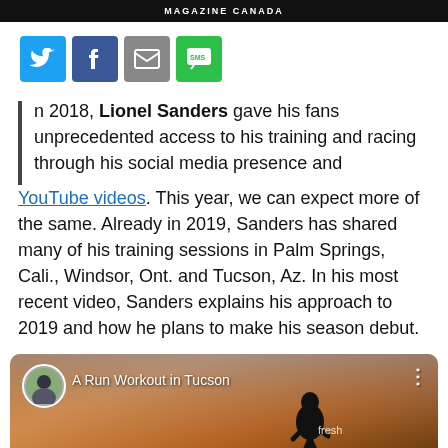MAGAZINE CANADA
[Figure (other): Social sharing buttons row: Twitter (blue), Facebook (blue), Email (grey), SMS (green)]
In 2018, Lionel Sanders gave his fans unprecedented access to his training and racing through his social media presence and YouTube videos. This year, we can expect more of the same. Already in 2019, Sanders has shared many of his training sessions in Palm Springs, Cali., Windsor, Ont. and Tucson, Az. In his most recent video, Sanders explains his approach to 2019 and how he plans to make his season debut.
[Figure (screenshot): YouTube video thumbnail showing a runner silhouetted against a sunset sky, with title 'A Run Workout in Tucson', channel avatar, and YouTube play button]